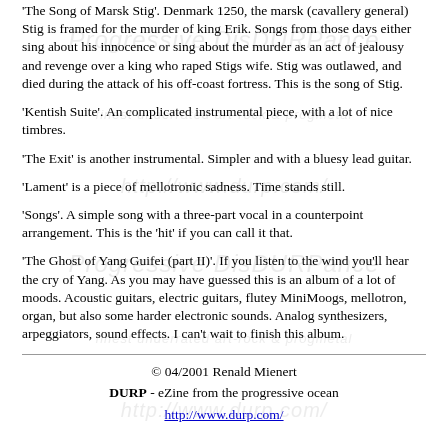'The Song of Marsk Stig'. Denmark 1250, the marsk (cavallery general) Stig is framed for the murder of king Erik. Songs from those days either sing about his innocence or sing about the murder as an act of jealousy and revenge over a king who raped Stigs wife. Stig was outlawed, and died during the attack of his off-coast fortress. This is the song of Stig.
'Kentish Suite'. An complicated instrumental piece, with a lot of nice timbres.
'The Exit' is another instrumental. Simpler and with a bluesy lead guitar.
'Lament' is a piece of mellotronic sadness. Time stands still.
'Songs'. A simple song with a three-part vocal in a counterpoint arrangement. This is the 'hit' if you can call it that.
'The Ghost of Yang Guifei (part II)'. If you listen to the wind you'll hear the cry of Yang. As you may have guessed this is an album of a lot of moods. Acoustic guitars, electric guitars, flutey MiniMoogs, mellotron, organ, but also some harder electronic sounds. Analog synthesizers, arpeggiators, sound effects. I can't wait to finish this album.
© 04/2001 Renald Mienert
DURP - eZine from the progressive ocean
http://www.durp.com/